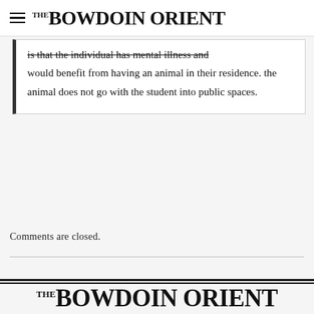THE BOWDOIN ORIENT
is that the individual has mental illness and would benefit from having an animal in their residence. the animal does not go with the student into public spaces.
Comments are closed.
THE BOWDOIN ORIENT